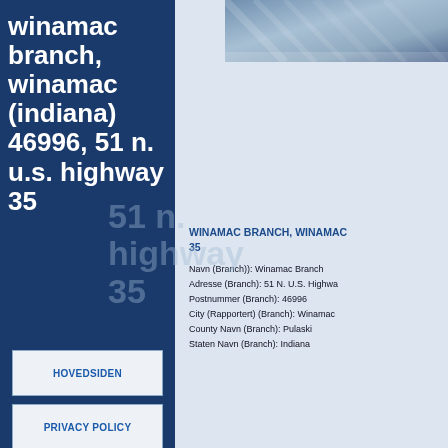winamac branch, winamac (indiana) 46996, 51 n. u.s. highway 35
[Figure (photo): Blue-toned architectural or building photo strip at top right]
WINAMAC BRANCH, WINAMAC 35
Navn (Branch)): Winamac Branch
Adresse (Branch): 51 N. U.S. Highway
Postnummer (Branch): 46996
City (Rapportert) (Branch): Winamac
County Navn (Branch): Pulaski
Staten Navn (Branch): Indiana
HOVEDSIDEN
PRIVACY POLICY
På denne siden finner du lite informasjon om hvor mange som opererer forslagene informasjon for enkelt slik informa hjelpe de